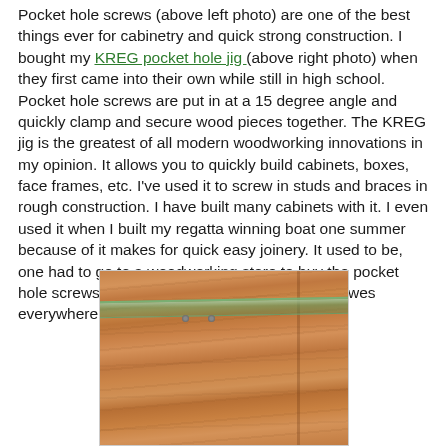Pocket hole screws (above left photo) are one of the best things ever for cabinetry and quick strong construction. I bought my KREG pocket hole jig (above right photo) when they first came into their own while still in high school. Pocket hole screws are put in at a 15 degree angle and quickly clamp and secure wood pieces together. The KREG jig is the greatest of all modern woodworking innovations in my opinion. It allows you to quickly build cabinets, boxes, face frames, etc. I've used it to screw in studs and braces in rough construction. I have built many cabinets with it. I even used it when I built my regatta winning boat one summer because of it makes for quick easy joinery. It used to be, one had to go to a woodworking store to buy the pocket hole screws and jigs but they are now sold at Lowes everywhere.
[Figure (photo): Photo of a wood cabinet panel with a glass shelf mounted on it, showing pocket hole screws in the wood]